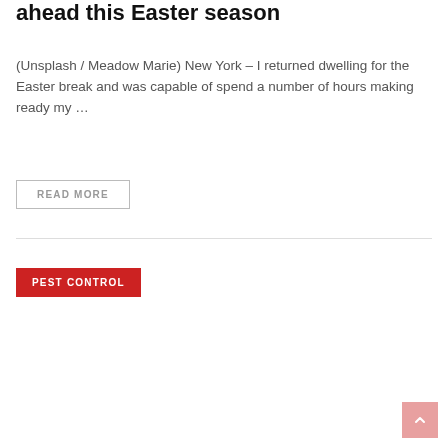ahead this Easter season
(Unsplash / Meadow Marie) New York – I returned dwelling for the Easter break and was capable of spend a number of hours making ready my …
READ MORE
PEST CONTROL